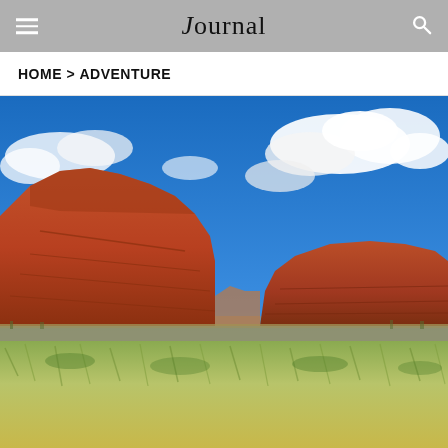Journal
HOME > ADVENTURE
[Figure (photo): Landscape photo of red sandstone rock formations (buttes/mesas) under a vivid blue sky with white clouds, with green grass in the foreground — a desert Southwest or similar arid landscape scene.]